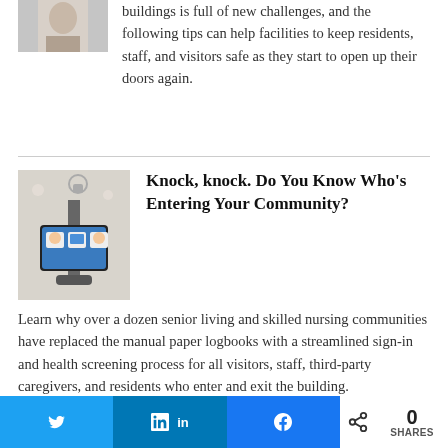[Figure (photo): Partial image of a person at top left, cropped]
buildings is full of new challenges, and the following tips can help facilities to keep residents, staff, and visitors safe as they start to open up their doors again.
[Figure (photo): A tablet-based sign-in kiosk on a stand in a lobby or community entrance area]
Knock, knock. Do You Know Who's Entering Your Community?
Learn why over a dozen senior living and skilled nursing communities have replaced the manual paper logbooks with a streamlined sign-in and health screening process for all visitors, staff, third-party caregivers, and residents who enter and exit the building.